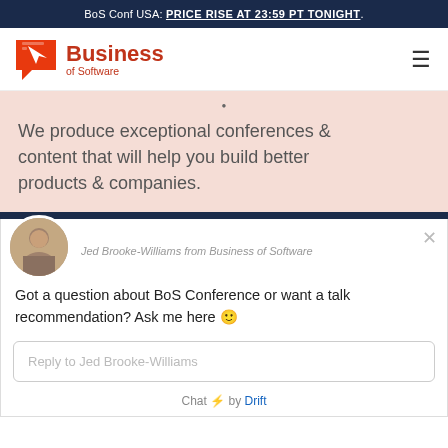BoS Conf USA: PRICE RISE AT 23:59 PT TONIGHT.
[Figure (logo): Business of Software logo with orange/red cursor icon and text]
We produce exceptional conferences & content that will help you build better products & companies.
Jed Brooke-Williams from Business of Software
Got a question about BoS Conference or want a talk recommendation? Ask me here 😊
Reply to Jed Brooke-Williams
Chat ⚡ by Drift